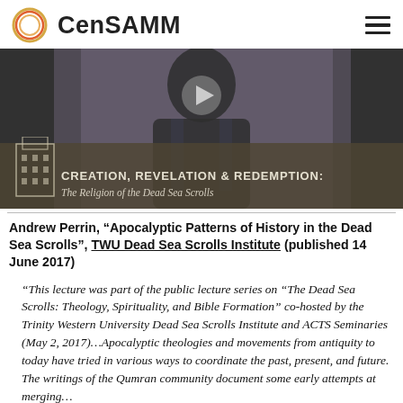CenSAMM
[Figure (screenshot): Video thumbnail showing a man in a suit with text overlay: 'CREATION, REVELATION & REDEMPTION: The Religion of the Dead Sea Scrolls' and a play button icon.]
Andrew Perrin, “Apocalyptic Patterns of History in the Dead Sea Scrolls”, TWU Dead Sea Scrolls Institute (published 14 June 2017)
“This lecture was part of the public lecture series on “The Dead Sea Scrolls: Theology, Spirituality, and Bible Formation” co-hosted by the Trinity Western University Dead Sea Scrolls Institute and ACTS Seminaries (May 2, 2017)…Apocalyptic theologies and movements from antiquity to today have tried in various ways to coordinate the past, present, and future. The writings of the Qumran community document some early attempts at merging…